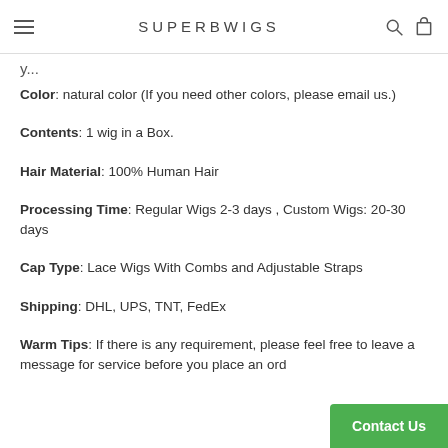SUPERBWIGS
Color: natural color (If you need other colors, please email us.)
Contents: 1 wig in a Box.
Hair Material: 100% Human Hair
Processing Time: Regular Wigs 2-3 days , Custom Wigs: 20-30 days
Cap Type: Lace Wigs With Combs and Adjustable Straps
Shipping: DHL, UPS, TNT, FedEx
Warm Tips: If there is any requirement, please feel free to leave a message for service before you place an ord...